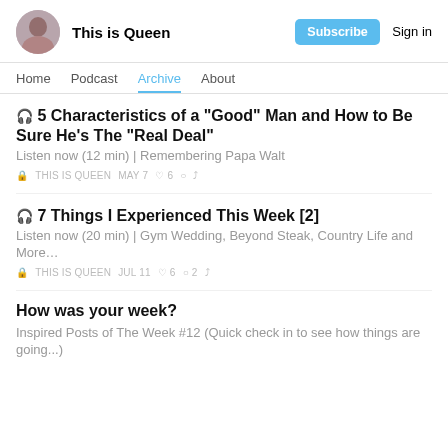This is Queen | Subscribe | Sign in
Home | Podcast | Archive | About
🎧 5 Characteristics of a "Good" Man and How to Be Sure He's The "Real Deal"
Listen now (12 min) | Remembering Papa Walt
🔒 THIS IS QUEEN  MAY 7  ♡ 6  💬  ↗
🎧 7 Things I Experienced This Week [2]
Listen now (20 min) | Gym Wedding, Beyond Steak, Country Life and More…
🔒 THIS IS QUEEN  JUL 11  ♡ 6  💬 2  ↗
How was your week?
Inspired Posts of The Week #12 (Quick check in to see how things are going...)